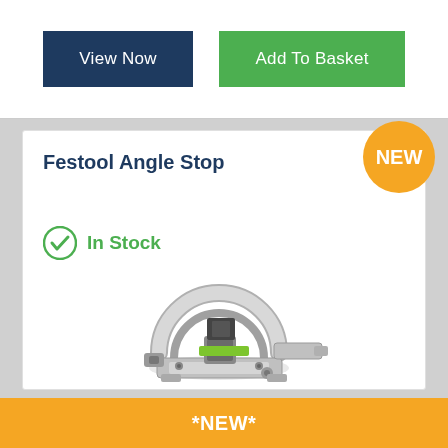View Now
Add To Basket
Festool Angle Stop
NEW
In Stock
[Figure (photo): Festool Angle Stop tool - a circular metallic angle stop accessory with green accents and adjustable components]
*NEW*